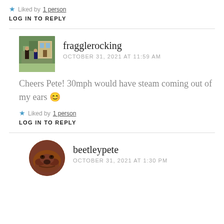★ Liked by 1 person
LOG IN TO REPLY
fragglerocking
OCTOBER 31, 2021 AT 11:59 AM
Cheers Pete! 30mph would have steam coming out of my ears 😊
★ Liked by 1 person
LOG IN TO REPLY
beetleypete
OCTOBER 31, 2021 AT 1:30 PM